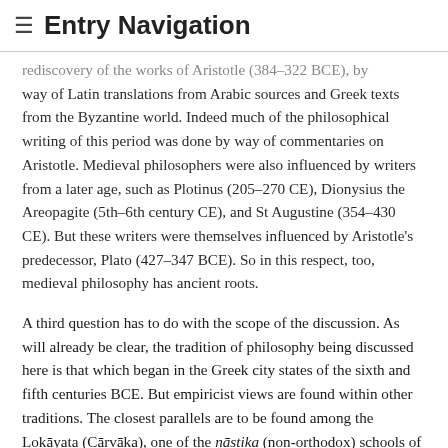≡ Entry Navigation
rediscovery of the works of Aristotle (384–322 BCE), by way of Latin translations from Arabic sources and Greek texts from the Byzantine world. Indeed much of the philosophical writing of this period was done by way of commentaries on Aristotle. Medieval philosophers were also influenced by writers from a later age, such as Plotinus (205–270 CE), Dionysius the Areopagite (5th–6th century CE), and St Augustine (354–430 CE). But these writers were themselves influenced by Aristotle's predecessor, Plato (427–347 BCE). So in this respect, too, medieval philosophy has ancient roots.
A third question has to do with the scope of the discussion. As will already be clear, the tradition of philosophy being discussed here is that which began in the Greek city states of the sixth and fifth centuries BCE. But empiricist views are found within other traditions. The closest parallels are to be found among the Lokāyata (Cārvāka), one of the nāstika (non-orthodox) schools of Indian philosophy that existed in the sixth and seventh centuries CE. These are reported to have held that sensory